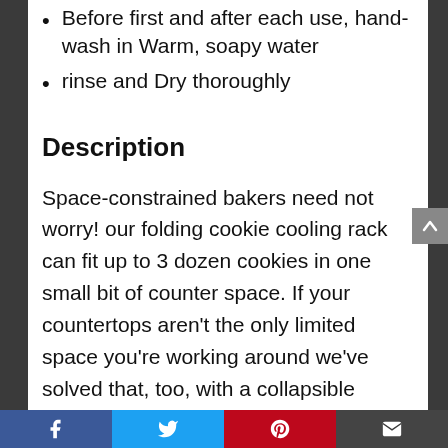Before first and after each use, hand-wash in Warm, soapy water
rinse and Dry thoroughly
Description
Space-constrained bakers need not worry! our folding cookie cooling rack can fit up to 3 dozen cookies in one small bit of counter space. If your countertops aren't the only limited space you're working around we've solved that, too, with a collapsible design that takes about as much space as a cookie